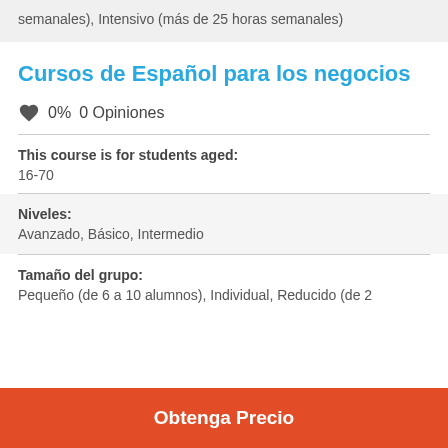semanales), Intensivo (más de 25 horas semanales)
Cursos de Español para los negocios
0% 0 Opiniones
This course is for students aged:
16-70
Niveles:
Avanzado, Básico, Intermedio
Tamaño del grupo:
Pequeño (de 6 a 10 alumnos), Individual, Reducido (de 2
Obtenga Precio